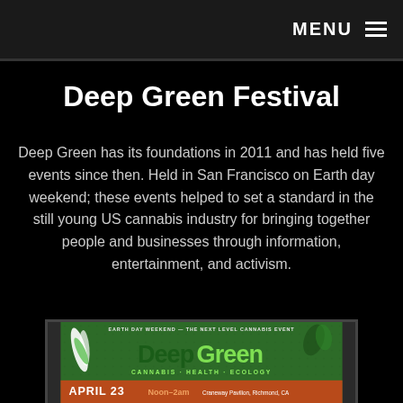MENU
Deep Green Festival
Deep Green has its foundations in 2011 and has held five events since then. Held in San Francisco on Earth day weekend; these events helped to set a standard in the still young US cannabis industry for bringing together people and businesses through information, entertainment, and activism.
[Figure (photo): Deep Green Festival poster showing 'EARTH DAY WEEKEND — THE NEXT LEVEL CANNABIS EVENT' with the Deep Green logo featuring a cannabis leaf design, text 'CANNABIS · HEALTH · ECOLOGY', and event details 'APRIL 23 Noon–2am Craneway Pavilion, Richmond, CA']